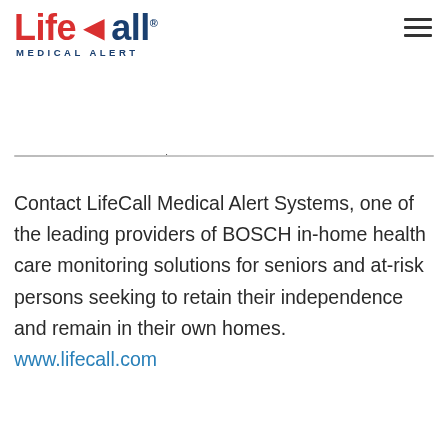[Figure (logo): LifeCall Medical Alert logo with red 'Life' text and dark blue 'Call' text with antenna/signal icon, subtitle reads MEDICAL ALERT]
Contact LifeCall Medical Alert Systems, one of the leading providers of BOSCH in-home health care monitoring solutions for seniors and at-risk persons seeking to retain their independence and remain in their own homes. www.lifecall.com